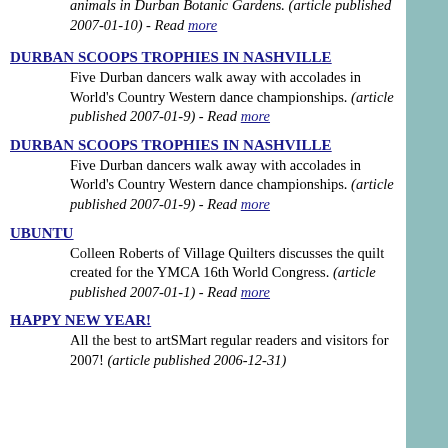animals in Durban Botanic Gardens. (article published 2007-01-10) - Read more
DURBAN SCOOPS TROPHIES IN NASHVILLE
Five Durban dancers walk away with accolades in World's Country Western dance championships. (article published 2007-01-9) - Read more
DURBAN SCOOPS TROPHIES IN NASHVILLE
Five Durban dancers walk away with accolades in World's Country Western dance championships. (article published 2007-01-9) - Read more
UBUNTU
Colleen Roberts of Village Quilters discusses the quilt created for the YMCA 16th World Congress. (article published 2007-01-1) - Read more
HAPPY NEW YEAR!
All the best to artSMart regular readers and visitors for 2007! (article published 2006-12-31)